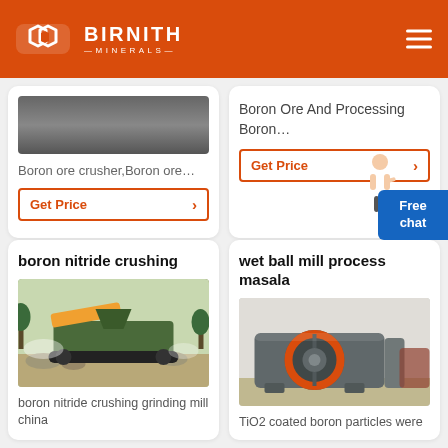BIRNITH MINERALS
[Figure (screenshot): Partial product card showing image of boron ore crusher machine]
Boron ore crusher,Boron ore…
Get Price
Boron Ore And Processing Boron…
Get Price
boron nitride crushing
[Figure (photo): Green mobile jaw crusher machine operating outdoors with debris and trees in background]
boron nitride crushing grinding mill china
wet ball mill process masala
[Figure (photo): Industrial ball mill machine in factory with orange ring on front, grey machinery]
TiO2 coated boron particles were